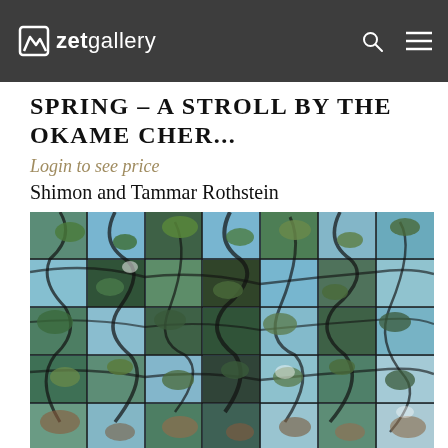zet gallery
SPRING – A STROLL BY THE OKAME CHER...
Login to see price
Shimon and Tammar Rothstein
[Figure (photo): Grid mosaic photo artwork showing cherry blossom trees photographed from below looking up at the sky, composed of multiple square photo tiles arranged in a grid pattern, showing dark tree branches against blue sky with green and reddish foliage.]